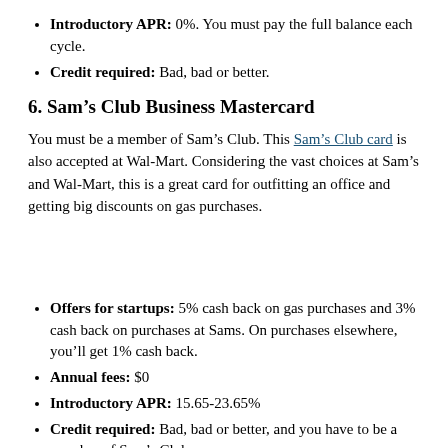Introductory APR: 0%. You must pay the full balance each cycle.
Credit required: Bad, bad or better.
6. Sam's Club Business Mastercard
You must be a member of Sam's Club. This Sam's Club card is also accepted at Wal-Mart. Considering the vast choices at Sam's and Wal-Mart, this is a great card for outfitting an office and getting big discounts on gas purchases.
Offers for startups: 5% cash back on gas purchases and 3% cash back on purchases at Sams. On purchases elsewhere, you'll get 1% cash back.
Annual fees: $0
Introductory APR: 15.65-23.65%
Credit required: Bad, bad or better, and you have to be a member of Sam's Club.